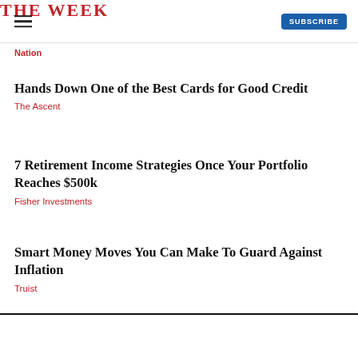THE WEEK | SUBSCRIBE
Nation
Hands Down One of the Best Cards for Good Credit
The Ascent
7 Retirement Income Strategies Once Your Portfolio Reaches $500k
Fisher Investments
Smart Money Moves You Can Make To Guard Against Inflation
Truist